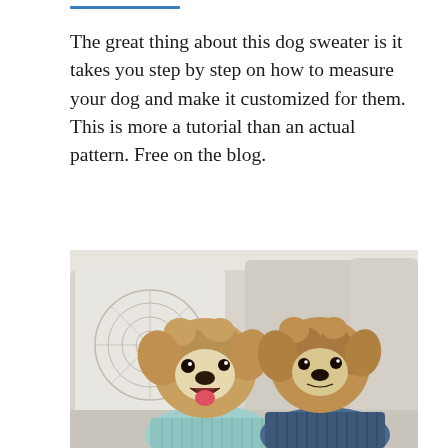The great thing about this dog sweater is it takes you step by step on how to measure your dog and make it customized for them. This is more a tutorial than an actual pattern. Free on the blog.
[Figure (photo): Two fluffy brown/golden doodle dogs sitting on a sofa. The left dog wears a light blue/mint knitted sweater and has its mouth open. The right dog wears a blue/navy knitted sweater. There are decorative pillows visible in the background.]